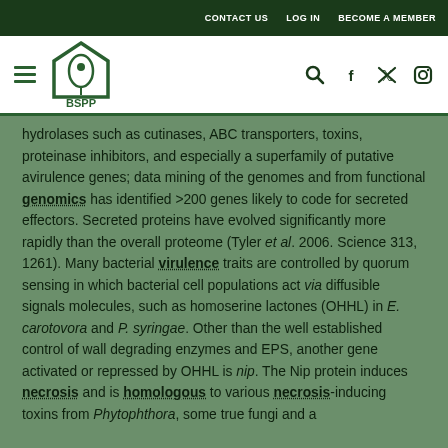CONTACT US  LOG IN  BECOME A MEMBER
[Figure (logo): BSPP logo with plant/leaf design in green circle]
hydrolases such as cutinases, ABC transporters, toxins, proteinase inhibitors, and especially a superfamily of putative avirulence genes; data mining of the genomes and from functional genomics has identified >200 genes likely to code for secreted effectors. Secreted proteins have evolved significantly more rapidly than the overall proteome (Tyler et al. 2006. Science 313, 1261). Many bacterial virulence traits are controlled by quorum sensing in which bacterial cell populations act via diffusible signals molecules, such as homoserine lactones (OHHL) in E. carotovora and P. syringae. Other than the well established control of wall degrading enzymes and EPS, another gene activated or repressed by OHHL is nip. The Nip protein induces necrosis and is homologous to various necrosis-inducing toxins from Phytophthora, some true fungi and a